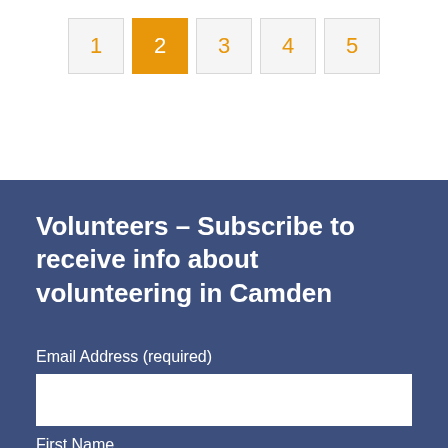[Figure (other): Pagination bar with 5 numbered buttons; button 2 is active/highlighted in orange, others in light grey with orange numbers]
Volunteers - Subscribe to receive info about volunteering in Camden
Email Address (required)
First Name